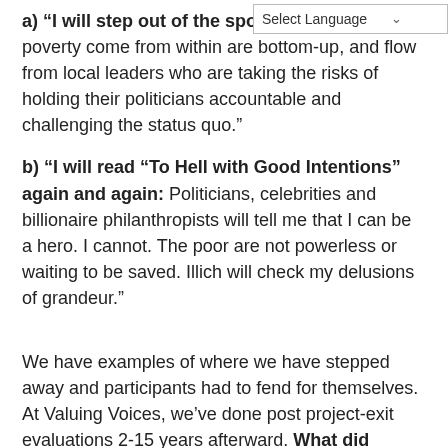a) “I will step out of the spotlight… solutions to poverty come from within are bottom-up, and flow from local leaders who are taking the risks of holding their politicians accountable and challenging the status quo.”
b) “I will read “To Hell with Good Intentions” again and again: Politicians, celebrities and billionaire philanthropists will tell me that I can be a hero. I cannot. The poor are not powerless or waiting to be saved. Illich will check my delusions of grandeur.”
We have examples of where we have stepped away and participants had to fend for themselves. At Valuing Voices, we’ve done post project-exit evaluations 2-15 years afterward. What did participants value so much that they sustained it themselves (all about them, literally)?